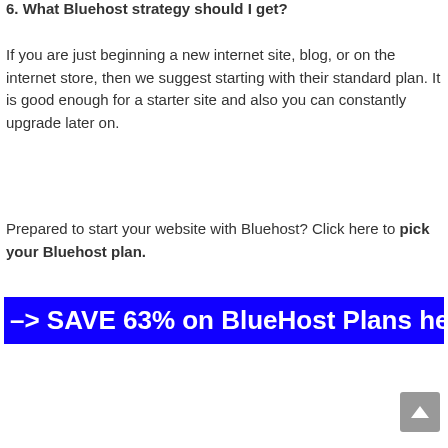6. What Bluehost strategy should I get?
If you are just beginning a new internet site, blog, or on the internet store, then we suggest starting with their standard plan. It is good enough for a starter site and also you can constantly upgrade later on.
Prepared to start your website with Bluehost? Click here to pick your Bluehost plan.
[Figure (infographic): Blue banner button with white bold text: –> SAVE 63% on BlueHost Plans here]